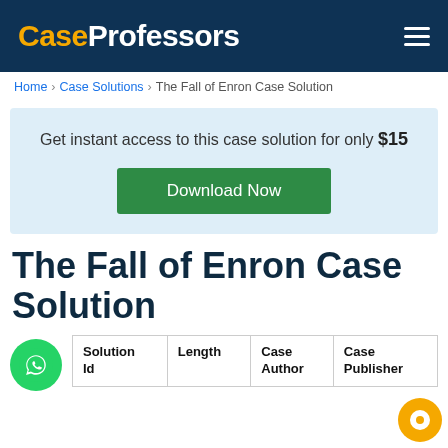CaseProfessors
Home > Case Solutions > The Fall of Enron Case Solution
Get instant access to this case solution for only $15
Download Now
The Fall of Enron Case Solution
| Solution Id | Length | Case Author | Case Publisher |
| --- | --- | --- | --- |